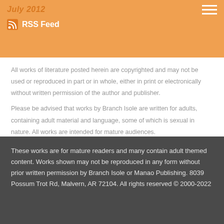July 2012
RSS Feed
All works of literature posted herein are copyrighted and may not be used or reproduced in part or in whole, either in print or electronically without written permission of the author and publisher.
Please be advised that works by Branch Isole are written for adults, containing adult material and language, some of which is sexual in nature. All works are intended for mature audiences.
These works are for mature readers and many contain adult themed content. Works shown may not be reproduced in any form without prior written permission by Branch Isole or Manao Publishing.  8039 Possum Trot Rd, Malvern, AR 72104. All rights reserved © 2000-2022